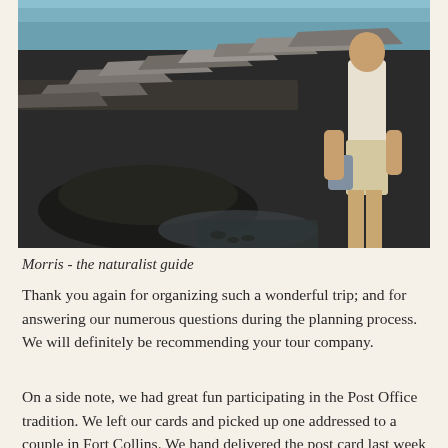[Figure (photo): A man standing on a dark volcanic rock coastline landscape, wearing beige shorts and a light shirt, holding a bag, with rocky terrain and blue water visible in the background.]
Morris - the naturalist guide
Thank you again for organizing such a wonderful trip; and for answering our numerous questions during the planning process.  We will definitely be recommending your tour company.
On a side note, we had great fun participating in the Post Office tradition.  We left our cards and picked up one addressed to a couple in Fort Collins.  We hand delivered the post card last week and had a wonderful